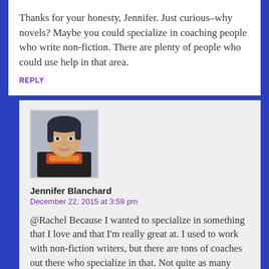Thanks for your honesty, Jennifer. Just curious–why novels? Maybe you could specialize in coaching people who write non-fiction. There are plenty of people who could use help in that area.
REPLY
[Figure (photo): Profile photo of Jennifer Blanchard, a woman with short dark hair and a colorful top]
Jennifer Blanchard
December 22, 2015 at 3:59 pm
@Rachel Because I wanted to specialize in something that I love and that I'm really great at. I used to work with non-fiction writers, but there are tons of coaches out there who specialize in that. Not quite as many who specialize in fiction/novels.